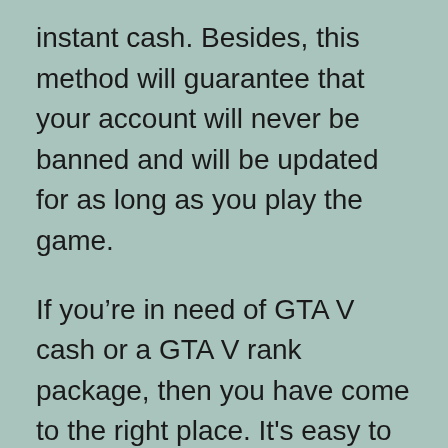instant cash. Besides, this method will guarantee that your account will never be banned and will be updated for as long as you play the game.
If you’re in need of GTA V cash or a GTA V rank package, then you have come to the right place. It's easy to buy GTA V money online. All you need to do is place your order with a trusted supplier and you’ll get your packages by email. You can also sell your expertise to make a good income in the game. You’ll earn real cash by gaming, and the best part is, it's completely legal.